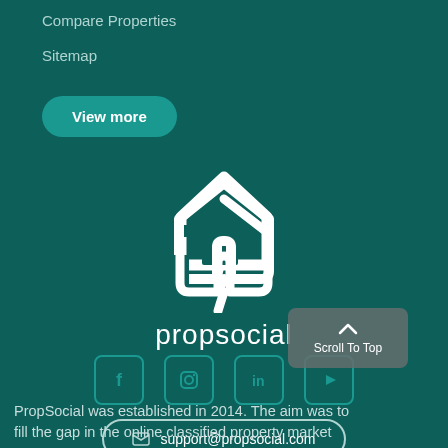Compare Properties
Sitemap
View more
[Figure (logo): PropSocial logo: white house/location-pin shaped icon above the word 'propsocial' in white lowercase letters]
[Figure (infographic): Four social media icons in teal-bordered rounded squares: Facebook, Instagram, LinkedIn, YouTube]
support@propsocial.com
Scroll To Top
PropSocial was established in 2014. The aim was to fill the gap in the online classified property market